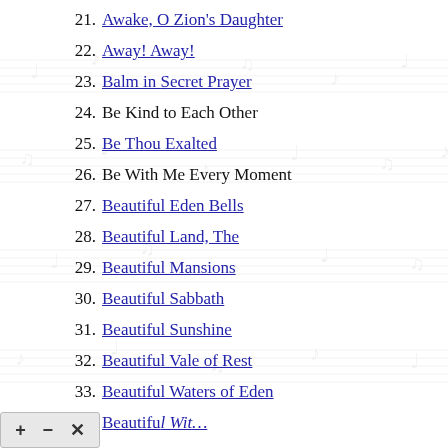21. Awake, O Zion's Daughter
22. Away! Away!
23. Balm in Secret Prayer
24. Be Kind to Each Other
25. Be Thou Exalted
26. Be With Me Every Moment
27. Beautiful Eden Bells
28. Beautiful Land, The
29. Beautiful Mansions
30. Beautiful Sabbath
31. Beautiful Sunshine
32. Beautiful Vale of Rest
33. Beautiful Waters of Eden
34. Beautiful Wit…